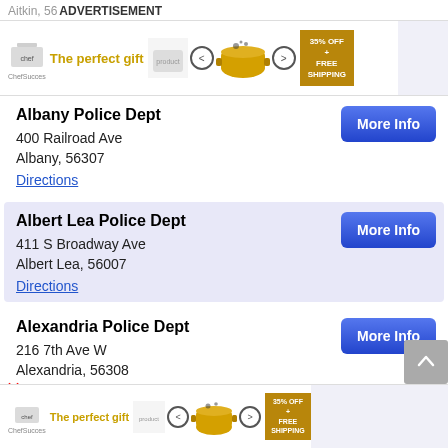Aitkin, 56    ADVERTISEMENT
[Figure (infographic): Advertisement banner: The perfect gift with food product image and 35% OFF + FREE SHIPPING badge]
Albany Police Dept
400 Railroad Ave
Albany, 56307
Directions
Albert Lea Police Dept
411 S Broadway Ave
Albert Lea, 56007
Directions
Alexandria Police Dept
216 7th Ave W
Alexandria, 56308
Directions
[Figure (infographic): Bottom advertisement banner: The perfect gift with food product image and 35% OFF + FREE SHIPPING badge]